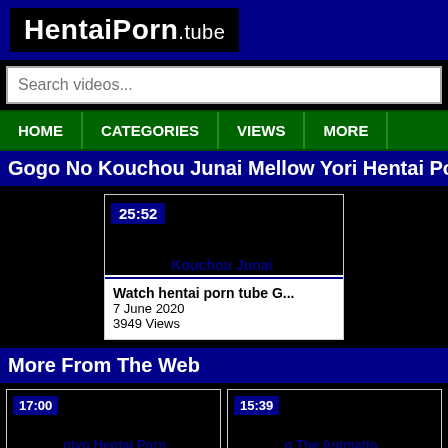[Figure (logo): HentaiPorn.tube logo on dark blue background with black logo box]
Search videos...
HOME | CATEGORIES | VIEWS | MORE
Gogo No Kouchou Junai Mellow Yori Hentai Porn - Her
[Figure (screenshot): Video thumbnail 25:52 - Kouchou Junai]
Watch hentai porn tube G...
7 June 2020
3949 Views
More From The Web
[Figure (screenshot): Video thumbnail 17:00 - niyo Hentai Porn]
The gorgeous teen girl Me...
7 June 2020
4562 Views
[Figure (screenshot): Video thumbnail 15:39 - o The Animatio]
The smart man made a ph...
7 June 2020
6440 Views
[Figure (screenshot): Video thumbnail 26:45 - ub Hentai Porn]
The hentai porn Rincan Cl...
7 June 2020
29556 Views
[Figure (screenshot): Video thumbnail 6:29 - onde Girl Nao Hen]
Scorching and attractive b...
7 June 2020
4956 Views